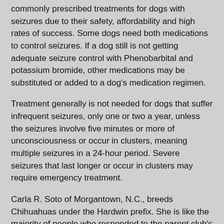commonly prescribed treatments for dogs with seizures due to their safety, affordability and high rates of success. Some dogs need both medications to control seizures. If a dog still is not getting adequate seizure control with Phenobarbital and potassium bromide, other medications may be substituted or added to a dog's medication regimen.
Treatment generally is not needed for dogs that suffer infrequent seizures, only one or two a year, unless the seizures involve five minutes or more of unconsciousness or occur in clusters, meaning multiple seizures in a 24-hour period. Severe seizures that last longer or occur in clusters may require emergency treatment.
Carla R. Soto of Morgantown, N.C., breeds Chihuahuas under the Hardwin prefix. She is like the majority of people who responded to the parent club's 2009 health survey and reported having two Chihuahuas that suffered from seizures. "Sunny" (CH Winhaven Davlyn Thunder Buster), who is now 7 years old, has had infrequent seizures since he was 3 years old and takes no medication. "Sam" (Davlyn Major Hardwin's Sam I Am), who is 8 years old, also takes no medication.
Recalling Sunny's first seizure, Soto says, "It was frightening. I was sitting in a chair at the computer and he came up on the chair to